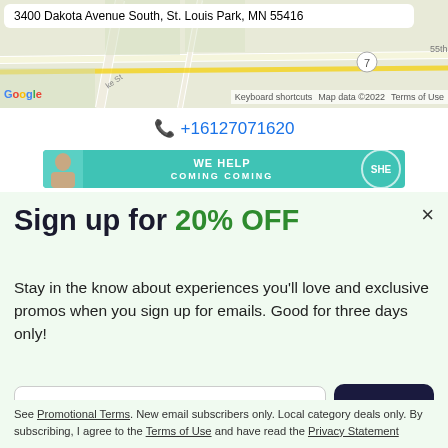[Figure (screenshot): Google Maps screenshot showing address '3400 Dakota Avenue South, St. Louis Park, MN 55416' with map view, Google logo, keyboard shortcuts, map data copyright 2022, and Terms of Use link]
+16127071620
[Figure (screenshot): Advertisement banner with teal background showing 'WE HELP' text, a person's photo on the left, and SHE logo]
Sign up for 20% OFF
Stay in the know about experiences you'll love and exclusive promos when you sign up for emails. Good for three days only!
Email Address
Sign Up
See Promotional Terms. New email subscribers only. Local category deals only. By subscribing, I agree to the Terms of Use and have read the Privacy Statement